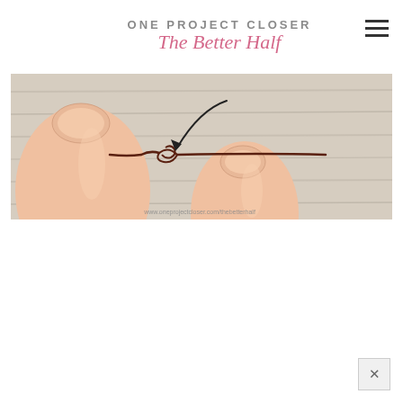ONE PROJECT CLOSER / The Better Half
[Figure (photo): Close-up photo of two fingers (thumbs) on a wood-grain surface holding a small dark brown knotted cord or wire, with an arrow pointing to the knot. Watermark at bottom right reads www.oneprojectcloser.com/thebetterhalf]